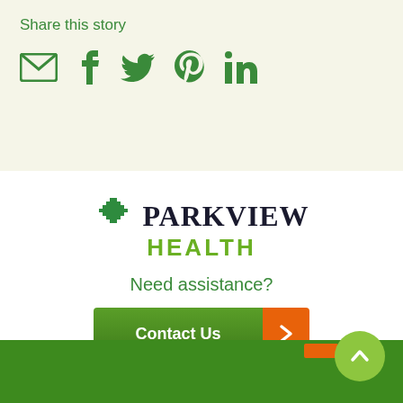Share this story
[Figure (infographic): Social sharing icons: email (envelope), Facebook, Twitter, Pinterest, LinkedIn — all in green]
[Figure (logo): Parkview Health logo with green pixel/diamond icon, 'PARKVIEW' in dark serif font, 'HEALTH' in green sans-serif font]
Need assistance?
[Figure (infographic): Green 'Contact Us' button with orange arrow chevron on the right side]
[Figure (infographic): Green footer bar with orange accent stripe and a light green circular scroll-to-top button with upward chevron]